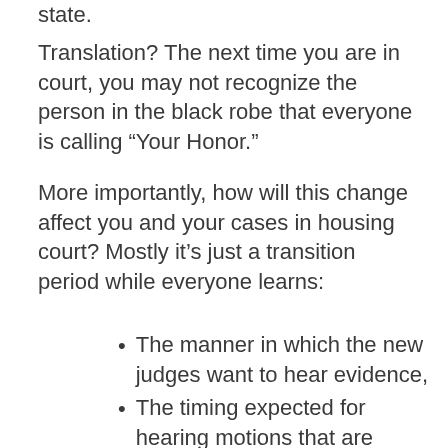state.
Translation? The next time you are in court, you may not recognize the person in the black robe that everyone is calling “Your Honor.”
More importantly, how will this change affect you and your cases in housing court? Mostly it’s just a transition period while everyone learns:
The manner in which the new judges want to hear evidence,
The timing expected for hearing motions that are scheduled for the day’s docket, and
The total number of cases the court